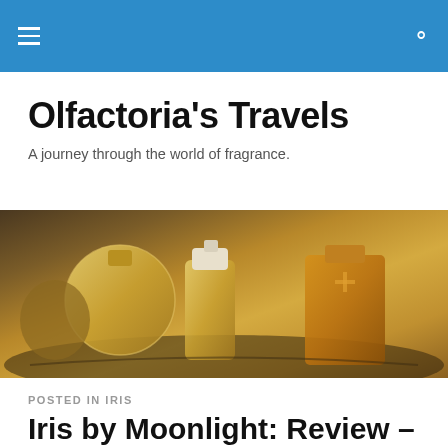≡  🔍
Olfactoria's Travels
A journey through the world of fragrance.
[Figure (photo): Close-up photo of several ornate perfume bottles arranged on a decorative surface, with golden and amber tones.]
POSTED IN IRIS
Iris by Moonlight: Review – Aedes de Venustas Iris Nazarena